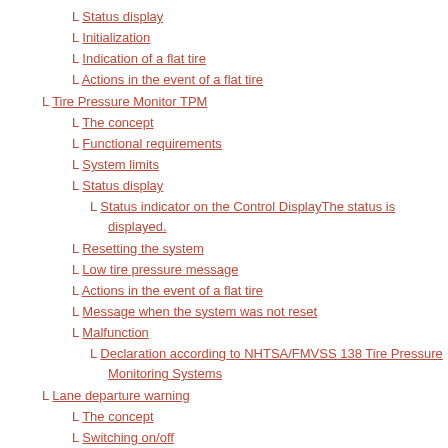Status display
Initialization
Indication of a flat tire
Actions in the event of a flat tire
Tire Pressure Monitor TPM
The concept
Functional requirements
System limits
Status display
Status indicator on the Control DisplayThe status is displayed.
Resetting the system
Low tire pressure message
Actions in the event of a flat tire
Message when the system was not reset
Malfunction
Declaration according to NHTSA/FMVSS 138 Tire Pressure Monitoring Systems
Lane departure warning
The concept
Switching on/off
Display
Issuing a warning